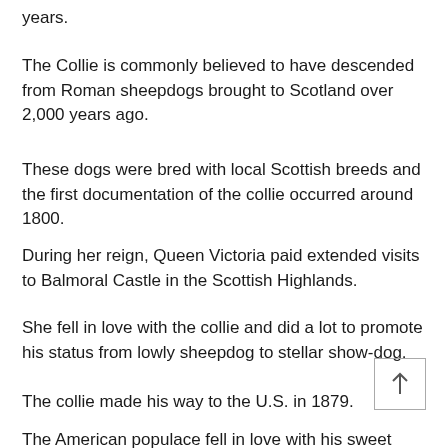years.
The Collie is commonly believed to have descended from Roman sheepdogs brought to Scotland over 2,000 years ago.
These dogs were bred with local Scottish breeds and the first documentation of the collie occurred around 1800.
During her reign, Queen Victoria paid extended visits to Balmoral Castle in the Scottish Highlands.
She fell in love with the collie and did a lot to promote his status from lowly sheepdog to stellar show-dog.
The collie made his way to the U.S. in 1879.
The American populace fell in love with his sweet nature